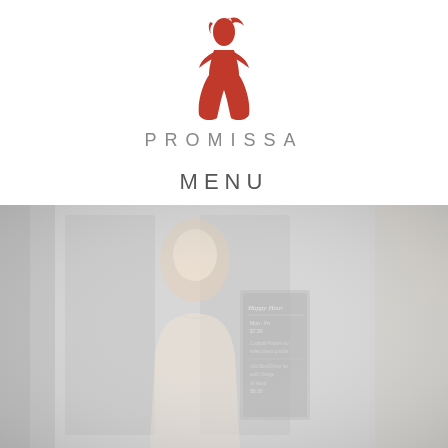[Figure (logo): Promissa restaurant logo: a red silhouette of a woman in a dress]
PROMISSA
MENU
[Figure (photo): Faded background photo of a blonde woman standing in front of a restaurant entrance, with a chalkboard menu visible behind her]